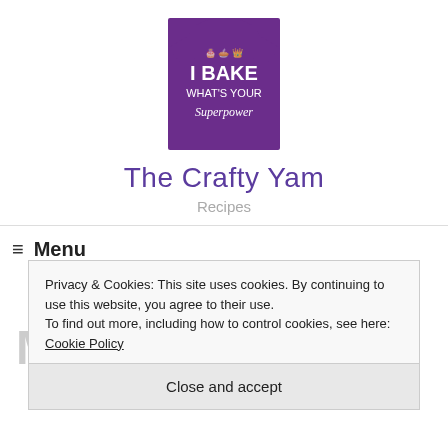[Figure (photo): Purple t-shirt with text 'I BAKE WHAT'S YOUR Superpower' and baking icons]
The Crafty Yam
Recipes
≡ Menu
Privacy & Cookies: This site uses cookies. By continuing to use this website, you agree to their use.
To find out more, including how to control cookies, see here: Cookie Policy
Close and accept